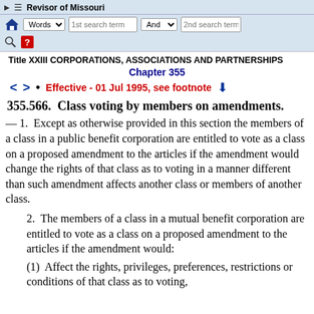Revisor of Missouri
Title XXIII CORPORATIONS, ASSOCIATIONS AND PARTNERSHIPS
Chapter 355
Effective - 01 Jul 1995, see footnote
355.566. Class voting by members on amendments.
— 1. Except as otherwise provided in this section the members of a class in a public benefit corporation are entitled to vote as a class on a proposed amendment to the articles if the amendment would change the rights of that class as to voting in a manner different than such amendment affects another class or members of another class.
2. The members of a class in a mutual benefit corporation are entitled to vote as a class on a proposed amendment to the articles if the amendment would:
(1) Affect the rights, privileges, preferences, restrictions or conditions of that class as to voting,